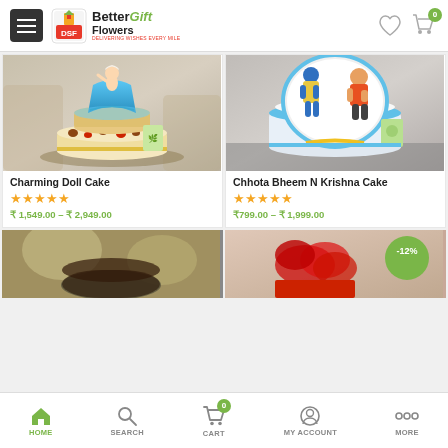Better Gift Flowers - Online Shop
[Figure (photo): Charming Doll Cake - a tiered cake with a Frozen Elsa doll on top, decorated with blue frosting and fruit toppings]
Charming Doll Cake
★★★★★
₹ 1,549.00 – ₹ 2,949.00
[Figure (photo): Chhota Bheem N Krishna Cake - a round cake with printed image of Chhota Bheem and Krishna cartoon characters]
Chhota Bheem N Krishna Cake
★★★★★
₹799.00 – ₹ 1,999.00
[Figure (photo): Partial view of a chocolate cake product]
[Figure (photo): Partial view of a red roses bouquet product with -12% discount badge]
HOME  SEARCH  CART  MY ACCOUNT  MORE